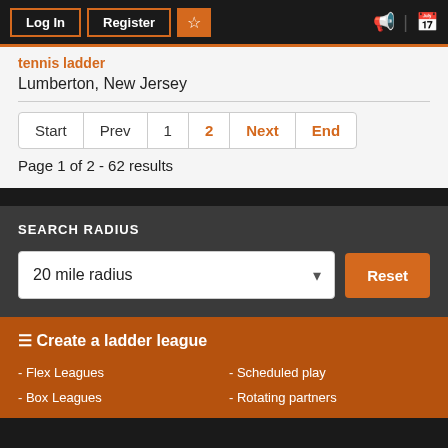Log In | Register | [star] | [megaphone] | [calendar]
tennis ladder
Lumberton, New Jersey
Start | Prev | 1 | 2 | Next | End
Page 1 of 2 - 62 results
SEARCH RADIUS
20 mile radius
Reset
Create a ladder league
- Flex Leagues
- Scheduled play
- Box Leagues
- Rotating partners